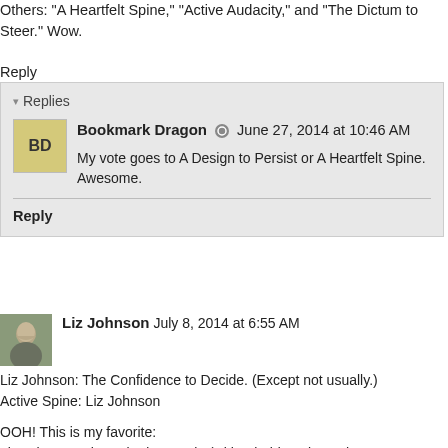Others: "A Heartfelt Spine," "Active Audacity," and "The Dictum to Steer." Wow.
Reply
Replies
Bookmark Dragon  June 27, 2014 at 10:46 AM
My vote goes to A Design to Persist or A Heartfelt Spine. Awesome.
Reply
Liz Johnson  July 8, 2014 at 6:55 AM
Liz Johnson: The Confidence to Decide. (Except not usually.)
Active Spine: Liz Johnson
OOH! This is my favorite:
Liz Johnson: The Attitude to Rule (with a bald eagle on the